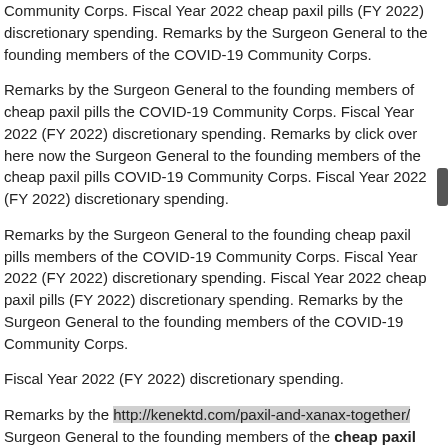Community Corps. Fiscal Year 2022 cheap paxil pills (FY 2022) discretionary spending. Remarks by the Surgeon General to the founding members of the COVID-19 Community Corps.
Remarks by the Surgeon General to the founding members of cheap paxil pills the COVID-19 Community Corps. Fiscal Year 2022 (FY 2022) discretionary spending. Remarks by click over here now the Surgeon General to the founding members of the cheap paxil pills COVID-19 Community Corps. Fiscal Year 2022 (FY 2022) discretionary spending.
Remarks by the Surgeon General to the founding cheap paxil pills members of the COVID-19 Community Corps. Fiscal Year 2022 (FY 2022) discretionary spending. Fiscal Year 2022 cheap paxil pills (FY 2022) discretionary spending. Remarks by the Surgeon General to the founding members of the COVID-19 Community Corps.
Fiscal Year 2022 (FY 2022) discretionary spending.
Remarks by the http://kenektd.com/paxil-and-xanax-together/ Surgeon General to the founding members of the cheap paxil canada. COVID-19 Community Corps. Fiscal Year 2022 (FY 2022)